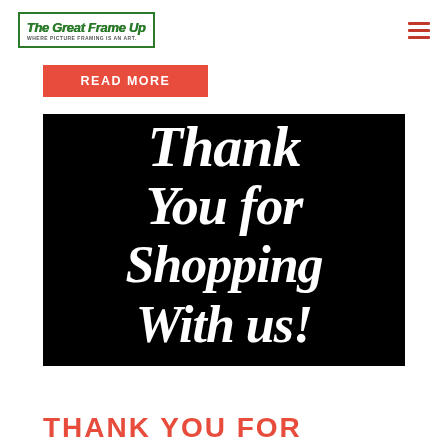The Great Frame Up — WHERE PICTURE FRAMING IS AN ART.
READ MORE
[Figure (illustration): Black background image with white decorative serif italic text reading 'Thank You for Shopping With us!']
THANK YOU FOR